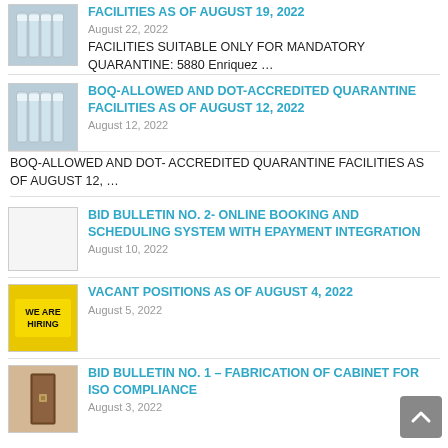[Figure (photo): Thumbnail image of bottles/quarantine facility]
FACILITIES AS OF AUGUST 19, 2022
August 22, 2022
FACILITIES SUITABLE ONLY FOR MANDATORY QUARANTINE: 5880 Enriquez …
[Figure (photo): Thumbnail image of bottles/quarantine facility]
BOQ-ALLOWED AND DOT-ACCREDITED QUARANTINE FACILITIES AS OF AUGUST 12, 2022
August 12, 2022
BOQ-ALLOWED AND DOT- ACCREDITED QUARANTINE FACILITIES AS OF AUGUST 12, …
[Figure (photo): Blank/placeholder thumbnail image]
BID BULLETIN NO. 2- ONLINE BOOKING AND SCHEDULING SYSTEM WITH EPAYMENT INTEGRATION
August 10, 2022
[Figure (photo): We are hiring thumbnail image]
VACANT POSITIONS AS OF AUGUST 4, 2022
August 5, 2022
[Figure (photo): Cabinet thumbnail image]
BID BULLETIN NO. 1 – FABRICATION OF CABINET FOR ISO COMPLIANCE
August 3, 2022